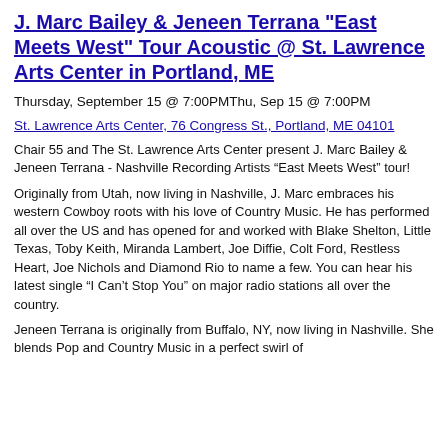J. Marc Bailey & Jeneen Terrana "East Meets West" Tour Acoustic @ St. Lawrence Arts Center in Portland, ME
Thursday, September 15 @ 7:00PMThu, Sep 15 @ 7:00PM
St. Lawrence Arts Center, 76 Congress St., Portland, ME 04101
Chair 55 and The St. Lawrence Arts Center present J. Marc Bailey & Jeneen Terrana - Nashville Recording Artists “East Meets West” tour!
Originally from Utah, now living in Nashville, J. Marc embraces his western Cowboy roots with his love of Country Music. He has performed all over the US and has opened for and worked with Blake Shelton, Little Texas, Toby Keith, Miranda Lambert, Joe Diffie, Colt Ford, Restless Heart, Joe Nichols and Diamond Rio to name a few. You can hear his latest single “I Can’t Stop You” on major radio stations all over the country.
Jeneen Terrana is originally from Buffalo, NY, now living in Nashville. She blends Pop and Country Music in a perfect swirl of